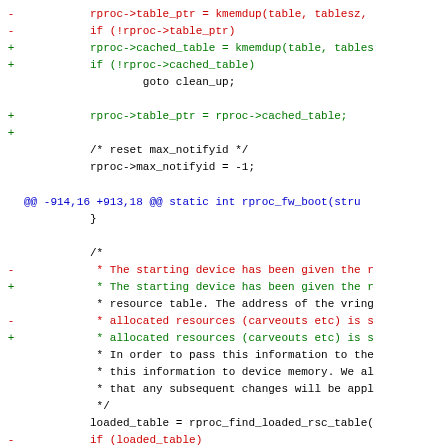Code diff showing changes to rproc table_ptr, cached_table, rproc_fw_boot function, and related memory operations
@@ -914,16 +913,18 @@ static int rproc_fw_boot(stru